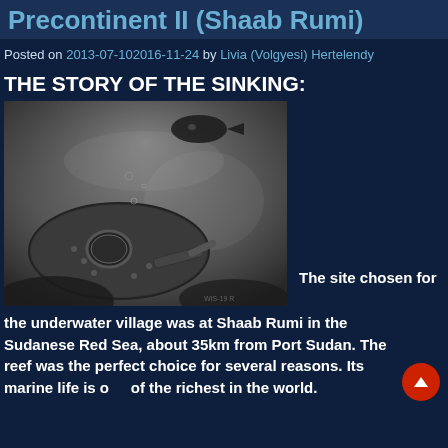Precontinent II (Shaab Rumi)
Posted on 2013-07-102016-11-24 by Livia (Volgyesi) Hertelendy
THE STORY OF THE SINKING:
[Figure (photo): Black and white underwater photograph showing a diver or submersible vehicle near Shaab Rumi, with a fish visible at the top and murky underwater scenery]
The site chosen for the underwater village was at Shaab Rumi in the Sudanese Red Sea, about 35km from Port Sudan. The reef was the perfect choice for several reasons. Its marine life is one of the richest in the world.